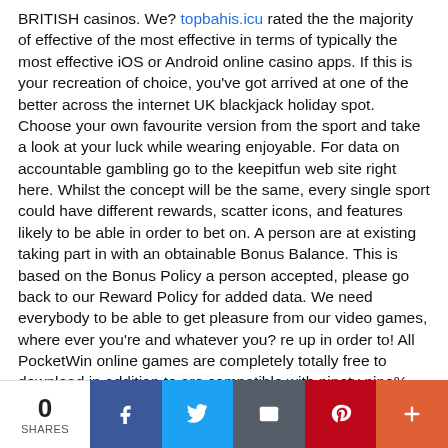BRITISH casinos. We? topbahis.icu rated the the majority of effective of the most effective in terms of typically the most effective iOS or Android online casino apps. If this is your recreation of choice, you've got arrived at one of the better across the internet UK blackjack holiday spot. Choose your own favourite version from the sport and take a look at your luck while wearing enjoyable. For data on accountable gambling go to the keepitfun web site right here. Whilst the concept will be the same, every single sport could have different rewards, scatter icons, and features likely to be able in order to bet on. A person are at existing taking part in with an obtainable Bonus Balance. This is based on the Bonus Policy a person accepted, please go back to our Reward Policy for added data. We need everybody to be able to get pleasure from our video games, where ever you're and whatever you? re up in order to! All PocketWin online games are completely totally free to download in addition to are compatible with ninety nine% regarding all cell gadgets, across phone in addition to pill. BeGambleAware supplies assist with disadvantage playing. It will be administered by GambleAware, the charity that will funds prevention, education, treatment providers and research into downside
0 SHARES | Facebook | Twitter | Email | Pinterest | More